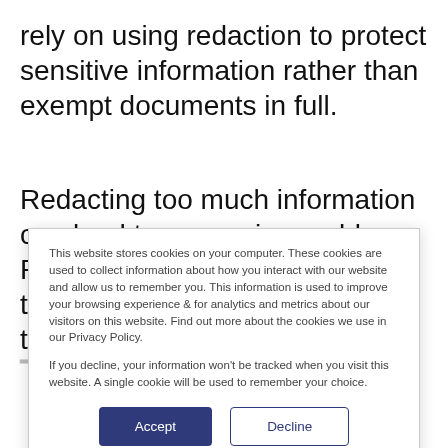rely on using redaction to protect sensitive information rather than exempt documents in full.
Redacting too much information can lead to expensive problems. Requesters are not shy about taking their complaints to court to
This website stores cookies on your computer. These cookies are used to collect information about how you interact with our website and allow us to remember you. This information is used to improve your browsing experience & for analytics and metrics about our visitors on this website. Find out more about the cookies we use in our Privacy Policy.
If you decline, your information won't be tracked when you visit this website. A single cookie will be used to remember your choice.